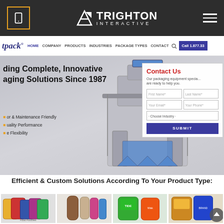[Figure (screenshot): Trighton Interactive agency website header with dark top bar showing logo and hamburger menu]
TRIGHTON INTERACTIVE
[Figure (screenshot): Website navigation bar with links: HOME, COMPANY, PRODUCTS, INDUSTRIES, PACKAGE TYPES, CONTACT and Call 1.877.33 button]
[Figure (screenshot): Hero banner showing packaging machinery with text 'ding Complete, Innovative aging Solutions Since 1987' and bullet points about operator-friendly, quality performance, flexibility. Contact Us form on the right side.]
Efficient & Custom Solutions According To Your Product Type:
[Figure (photo): Four product thumbnail images showing various packaged products including food pouches, cosmetic tubes, detergent pouches, and snack bags]